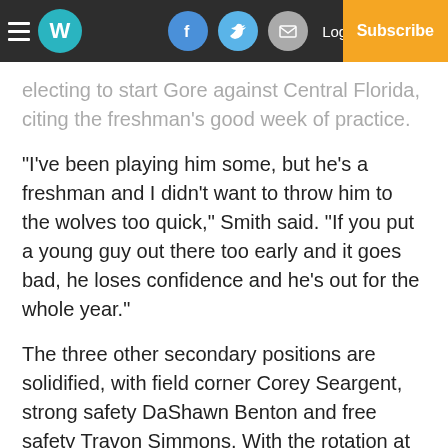W | Log In | Subscribe [navigation bar with social icons]
electing to start Gore against Central Florida, citing the freshman’s good week of practice.
“I’ve been playing him some, but he’s a freshman and I didn’t want to throw him to the wolves too quick,” Smith said. “If you put a young guy out there too early and it goes bad, he loses confidence and he’s out for the whole year.”
The three other secondary positions are solidified, with field corner Corey Seargent, strong safety DaShawn Benton and free safety Travon Simmons. With the rotation at the boundary spot, players